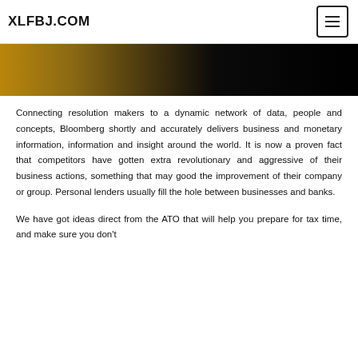XLFBJ.COM
[Figure (photo): Partial photo showing dark background with amber/brown tones, appears to be a person or object in low lighting]
Connecting resolution makers to a dynamic network of data, people and concepts, Bloomberg shortly and accurately delivers business and monetary information, information and insight around the world. It is now a proven fact that competitors have gotten extra revolutionary and aggressive of their business actions, something that may good the improvement of their company or group. Personal lenders usually fill the hole between businesses and banks.
We have got ideas direct from the ATO that will help you prepare for tax time, and make sure you don't